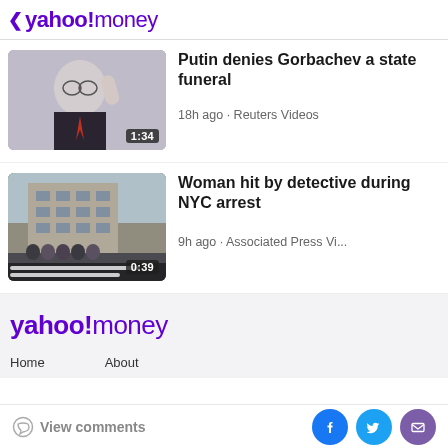< yahoo!money
[Figure (screenshot): Thumbnail of elderly man with glasses raising hand, video duration 1:34]
Putin denies Gorbachev a state funeral
18h ago · Reuters Videos
[Figure (screenshot): Thumbnail of NYC building exterior with people gathered outside, video duration 0:39]
Woman hit by detective during NYC arrest
9h ago · Associated Press Vi...
[Figure (logo): yahoo!money logo in footer section]
Home   About
View comments  [Facebook] [Twitter] [Mail]